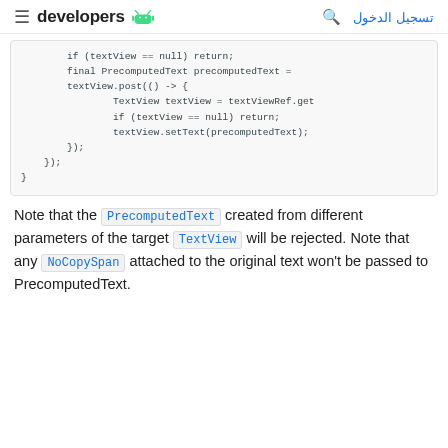≡ developers [android] تسجيل الدخول 🔍
[Figure (screenshot): Code block showing Java code snippet with textView null check, PrecomputedText creation, and textView.post lambda setting text]
Note that the PrecomputedText created from different parameters of the target TextView will be rejected. Note that any NoCopySpan attached to the original text won't be passed to PrecomputedText.